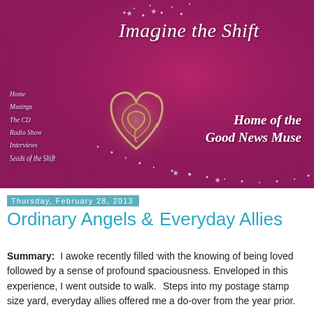[Figure (illustration): Website banner for 'Imagine the Shift' blog showing a dark magenta/purple background with swirling floral patterns, sparkle/star dots, a decorative intertwined heart logo in the center, navigation links on the left (Home, Musings, The CD, Radio Show, Interviews, Seeds of the Shift), main title 'Imagine the Shift' in large italic white text at top, and subtitle 'Home of the Good News Muse' in bold italic white text on the right.]
Thursday, February 28, 2013
Ordinary Angels & Everyday Allies
Summary: I awoke recently filled with the knowing of being loved followed by a sense of profound spaciousness. Enveloped in this experience, I went outside to walk. Steps into my postage stamp size yard, everyday allies offered me a do-over from the year prior.